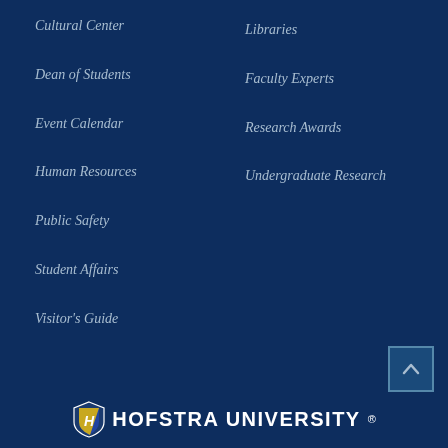Cultural Center
Libraries
Dean of Students
Faculty Experts
Event Calendar
Research Awards
Human Resources
Undergraduate Research
Public Safety
Student Affairs
Visitor's Guide
[Figure (logo): Hofstra University logo with shield emblem and text HOFSTRA UNIVERSITY]
[Figure (other): Scroll to top button with upward arrow]